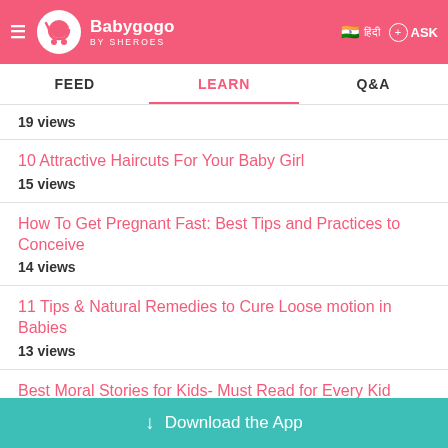Babygogo BY SHEROES — FEED | LEARN | Q&A
19 views
10 Attractive Haircuts For Your Baby Girl
15 views
How To Get Pregnant Fast: Best Tips and Practices to Conceive
14 views
11 Tips & Natural Remedies to Cure Loose motion in Babies
13 views
Best Moral Stories for Kids- Must Read for Every Kid
10 views
Download the App